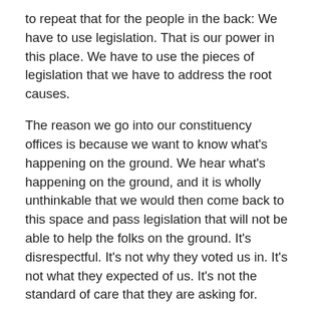to repeat that for the people in the back: We have to use legislation. That is our power in this place. We have to use the pieces of legislation that we have to address the root causes.
The reason we go into our constituency offices is because we want to know what's happening on the ground. We hear what's happening on the ground, and it is wholly unthinkable that we would then come back to this space and pass legislation that will not be able to help the folks on the ground. It's disrespectful. It's not why they voted us in. It's not what they expected of us. It's not the standard of care that they are asking for.
We see it time and time and time again. I don't know how there's a plan to address the PSW shortage if we're not willing to increase minimum wage, we're not willing to make sure there's pay equity. Do we realize, are we ready to talk about the fact that the PSWs and nurses we're talking about are primarily women and primarily women of